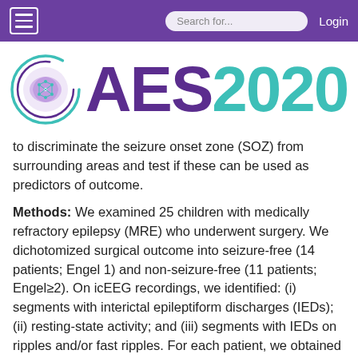☰  Search for...  Login
[Figure (logo): AES2020 conference logo with a brain illustration inside a circular swirl design. 'AES' in purple and '2020' in teal/green.]
to discriminate the seizure onset zone (SOZ) from surrounding areas and test if these can be used as predictors of outcome.
Methods: We examined 25 children with medically refractory epilepsy (MRE) who underwent surgery. We dichotomized surgical outcome into seizure-free (14 patients; Engel 1) and non-seizure-free (11 patients; Engel≥2). On icEEG recordings, we identified: (i) segments with interictal epileptiform discharges (IEDs); (ii) resting-state activity; and (iii) segments with IEDs on ripples and/or fast ripples. For each patient, we obtained three connectivity matrices [Amplitude Envelope Correlation (AEC), Correlation (CORR), and Phase Lock Value (PLV)] that consisted of connectivity